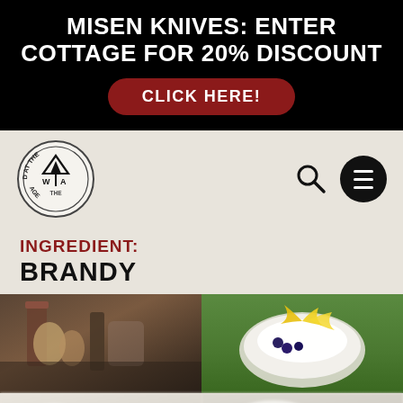MISEN KNIVES: ENTER COTTAGE FOR 20% DISCOUNT
CLICK HERE!
[Figure (logo): Weekend at the Cottage circular logo with mountain/tent icon]
INGREDIENT: BRANDY
[Figure (photo): Food/ingredient photo on left — bottles and produce on dark table]
[Figure (photo): Food/ingredient photo on right — bowl with cream, blueberries, and yellow garnish on green outdoor background]
[Figure (photo): Blurred food photo bottom left]
[Figure (photo): Blurred food photo bottom right with close X button]